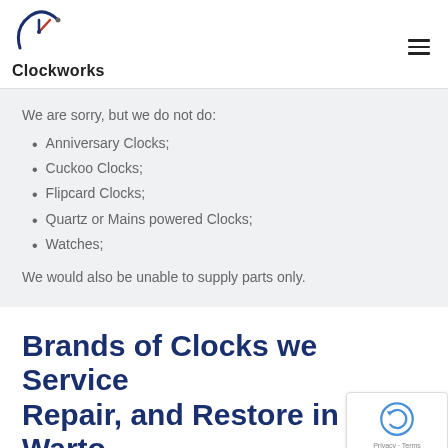Clockworks
We are sorry, but we do not do:
Anniversary Clocks;
Cuckoo Clocks;
Flipcard Clocks;
Quartz or Mains powered Clocks;
Watches;
We would also be unable to supply parts only.
Brands of Clocks we Service Repair, and Restore in Warto